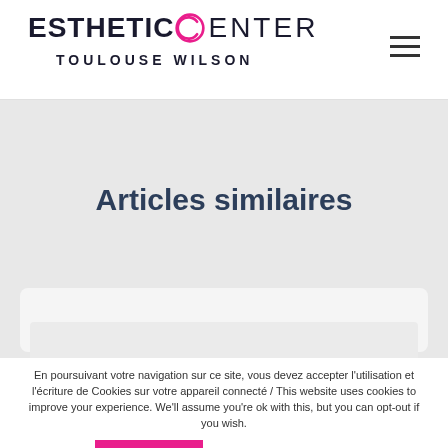[Figure (logo): Esthetic Center Toulouse Wilson logo with pink circle-C graphic and hamburger menu icon]
Articles similaires
[Figure (other): Card/article placeholder area with light grey rounded rectangle]
En poursuivant votre navigation sur ce site, vous devez accepter l'utilisation et l'écriture de Cookies sur votre appareil connecté / This website uses cookies to improve your experience. We'll assume you're ok with this, but you can opt-out if you wish.
ACCEPTER
En savoir + / Read More